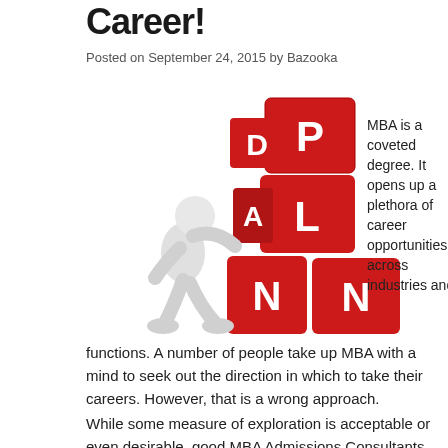Career!
Posted on September 24, 2015 by Bazooka
[Figure (illustration): A white 3D figurine pushing large red blocks stacked to spell PLAN]
MBA is a coveted degree. It opens up a plethora of career opportunities across industries and functions. A number of people take up MBA with a mind to seek out the direction in which to take their careers. However, that is a wrong approach.
While some measure of exploration is acceptable or even desirable, good MBA Admissions Consultants will ask you to have a blueprint ready. You should have clarity on what you